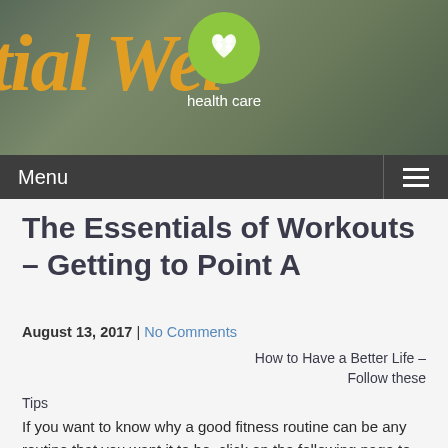[Figure (illustration): Website header banner with decorative cursive yellow/gold text on a dark olive/gray background, a green circular health care icon with people figures, and 'health care' label below the icon]
Menu
The Essentials of Workouts – Getting to Point A
August 13, 2017  |  No Comments
How to Have a Better Life – Follow these Tips
If you want to know why a good fitness routine can be any routine that you want it to be, click on the following page to know more or click the following page. Getting fit will make you a lot more attractive for other people and with that being said, click the following web page to get the